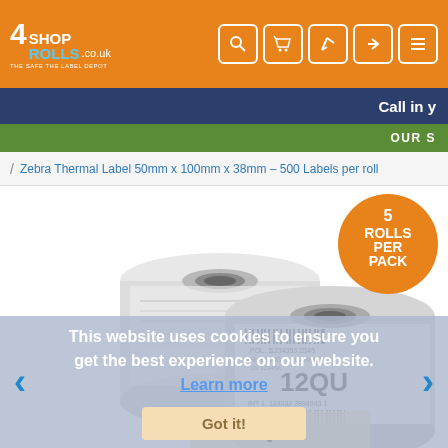[Figure (logo): Shop4Rolls logo with orange background, white and blue text showing '4 SHOP 4 ROLLS' with tagline]
[Figure (screenshot): Navigation icons: search, basket, edit/pen, login arrow, menu hamburger - white icons in white-bordered rounded squares on orange background]
Call in y
OUR S
/ Zebra Thermal Label 50mm x 100mm x 38mm - 500 Labels per roll
[Figure (photo): Two rolls of Zebra thermal labels 50mm x 100mm x 38mm, showing printed labels with barcode and 12QU text, white labels on roll cores]
[Figure (infographic): Orange circular badge reading '5 ROLLS PER PACK' in white bold text]
This website uses cookies to ensure you get the best experience on our website. Learn more
Got it!